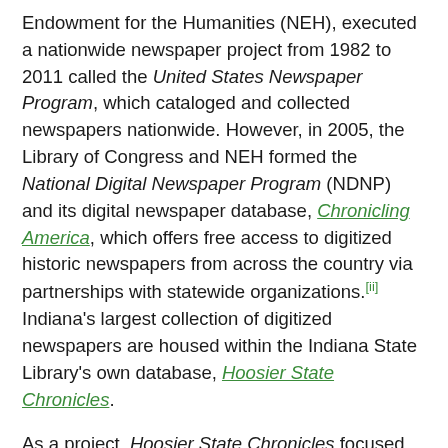Endowment for the Humanities (NEH), executed a nationwide newspaper project from 1982 to 2011 called the United States Newspaper Program, which cataloged and collected newspapers nationwide. However, in 2005, the Library of Congress and NEH formed the National Digital Newspaper Program (NDNP) and its digital newspaper database, Chronicling America, which offers free access to digitized historic newspapers from across the country via partnerships with statewide organizations.[ii] Indiana's largest collection of digitized newspapers are housed within the Indiana State Library's own database, Hoosier State Chronicles.
As a project, Hoosier State Chronicles focused on digitizing newspapers at the state and local levels- sometimes through the NDNP or institutional partners, but often by partnering with groups endeavoring to save their local papers. The efforts of these smaller organizations have been hindered by the lack of information about how to begin such a process, as well as securing the necessary resources to handle storage.